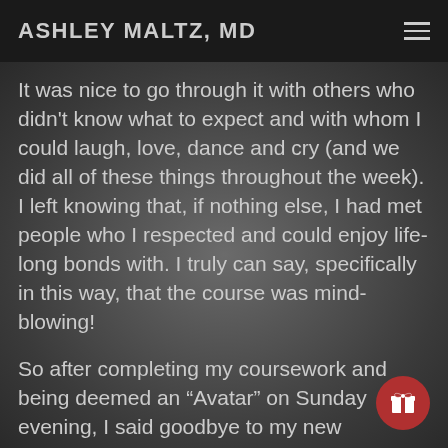ASHLEY MALTZ, MD
It was nice to go through it with others who didn't know what to expect and with whom I could laugh, love, dance and cry (and we did all of these things throughout the week). I left knowing that, if nothing else, I had met people who I respected and could enjoy life-long bonds with. I truly can say, specifically in this way, that the course was mind-blowing!
So after completing my coursework and being deemed an “Avatar” on Sunday evening, I said goodbye to my new